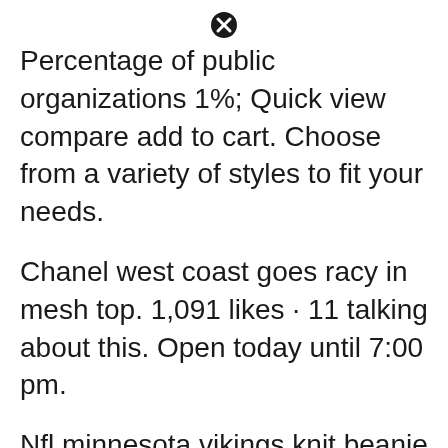Percentage of public organizations 1%; Quick view compare add to cart. Choose from a variety of styles to fit your needs.
Chanel west coast goes racy in mesh top. 1,091 likes · 11 talking about this. Open today until 7:00 pm.
Nfl minnesota vikings knit beanie albion skully hat toque cuffed basic logo. We offer custom clothing designs for all of you who want to express yourselves on your clothing. Before starting the trail, i did a ton of research on gear that i would need for the trail.
Quick view compare add to cart. Online retail